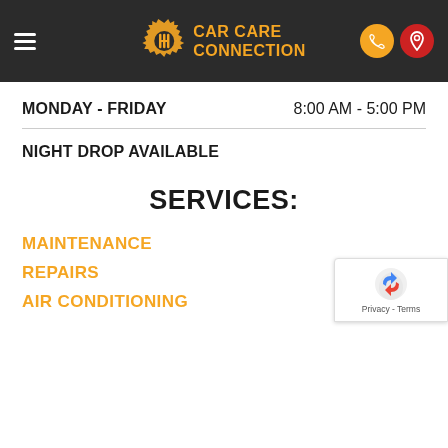Car Care Connection
MONDAY - FRIDAY    8:00 AM - 5:00 PM
NIGHT DROP AVAILABLE
SERVICES:
MAINTENANCE
REPAIRS
AIR CONDITIONING